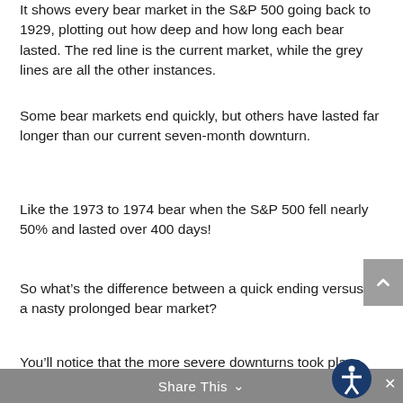It shows every bear market in the S&P 500 going back to 1929, plotting out how deep and how long each bear lasted. The red line is the current market, while the grey lines are all the other instances.
Some bear markets end quickly, but others have lasted far longer than our current seven-month downturn.
Like the 1973 to 1974 bear when the S&P 500 fell nearly 50% and lasted over 400 days!
So what's the difference between a quick ending versus a nasty prolonged bear market?
You'll notice that the more severe downturns took place when the economy also fell into recession.
Share This